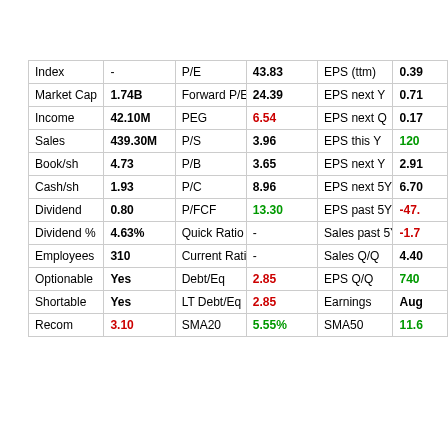| Index | - | P/E | 43.83 | EPS (ttm) | 0.39 |
| --- | --- | --- | --- | --- | --- |
| Market Cap | 1.74B | Forward P/E | 24.39 | EPS next Y | 0.71 |
| Income | 42.10M | PEG | 6.54 | EPS next Q | 0.17 |
| Sales | 439.30M | P/S | 3.96 | EPS this Y | 120 |
| Book/sh | 4.73 | P/B | 3.65 | EPS next Y | 2.91 |
| Cash/sh | 1.93 | P/C | 8.96 | EPS next 5Y | 6.70 |
| Dividend | 0.80 | P/FCF | 13.30 | EPS past 5Y | -47. |
| Dividend % | 4.63% | Quick Ratio | - | Sales past 5Y | -1.7 |
| Employees | 310 | Current Ratio | - | Sales Q/Q | 4.40 |
| Optionable | Yes | Debt/Eq | 2.85 | EPS Q/Q | 740 |
| Shortable | Yes | LT Debt/Eq | 2.85 | Earnings | Aug |
| Recom | 3.10 | SMA20 | 5.55% | SMA50 | 11.6 |